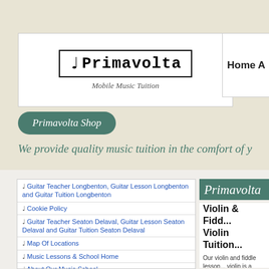Primavolta Mobile Music Tuition | Home
[Figure (logo): Primavolta logo with treble clef and music staff notation, subtitle: Mobile Music Tuition]
Primavolta Shop
We provide quality music tuition in the comfort of y...
Guitar Teacher Longbenton, Guitar Lesson Longbenton and Guitar Tuition Longbenton
Cookie Policy
Guitar Teacher Seaton Delaval, Guitar Lesson Seaton Delaval and Guitar Tuition Seaton Delaval
Map Of Locations
Music Lessons & School Home
About Our Music School
Primavolta
Violin & Fidd... Violin Tuition...
Our violin and fiddle lesson... violin is a fantastic musical... approach to your violin play...